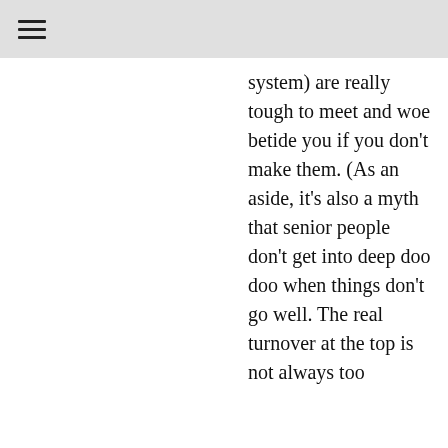≡
system) are really tough to meet and woe betide you if you don't make them. (As an aside, it's also a myth that senior people don't get into deep doo doo when things don't go well. The real turnover at the top is not always too